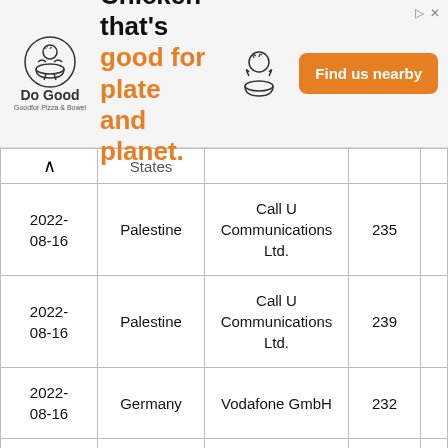[Figure (other): Do Good Chicken advertisement banner. Logo with chicken bowl graphic and text 'Do Good', tagline 'Chicken that's good for plate and planet.' in black and orange, chicken illustration, and orange 'Find us nearby' button.]
|  | States |  |  |  |
| --- | --- | --- | --- | --- |
| 2022-08-16 | Palestine | Call U Communications Ltd. | 235 |  |
| 2022-08-16 | Palestine | Call U Communications Ltd. | 239 |  |
| 2022-08-16 | Germany | Vodafone GmbH | 232 |  |
| 2022-08-16 | Palestine | Call U Communications Ltd. | 233 |  |
| 2022-08-16 | Palestine | Call U Communications Ltd. | 231 |  |